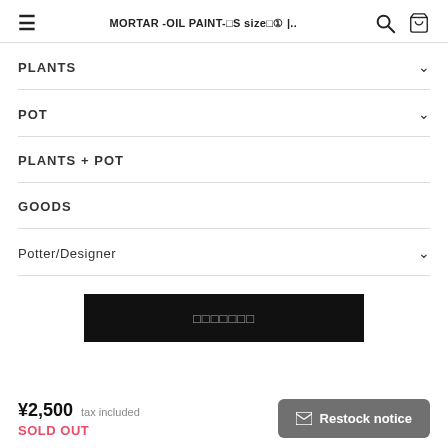MORTAR -OIL PAINT- S size | ..
PLANTS
POT
PLANTS + POT
GOODS
Potter/Designer
[Figure (screenshot): Black button with Japanese text (restock/sold out notice button)]
¥2,500 tax included
SOLD OUT
Restock notice